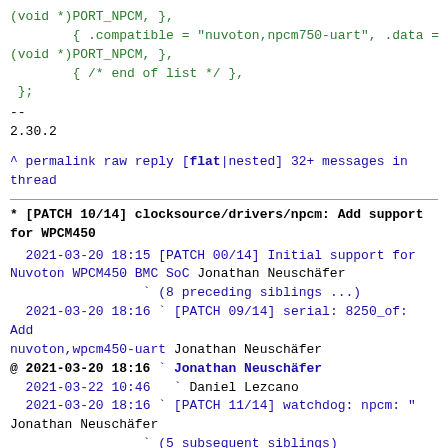(void *)PORT_NPCM, },
        { .compatible = "nuvoton,npcm750-uart", .data =
(void *)PORT_NPCM, },
        { /* end of list */ },
 };
--
2.30.2
^ permalink raw reply   [flat|nested] 32+ messages in
thread
* [PATCH 10/14] clocksource/drivers/npcm: Add support for WPCM450
  2021-03-20 18:15 [PATCH 00/14] Initial support for Nuvoton WPCM450 BMC SoC Jonathan Neuschäfer
                   ` (8 preceding siblings ...)
  2021-03-20 18:16 ` [PATCH 09/14] serial: 8250_of: Add nuvoton,wpcm450-uart Jonathan Neuschäfer
@ 2021-03-20 18:16 ` Jonathan Neuschäfer
  2021-03-22 10:46   ` Daniel Lezcano
  2021-03-20 18:16 ` [PATCH 11/14] watchdog: npcm: " Jonathan Neuschäfer
                   ` (5 subsequent siblings)
  15 siblings, 1 reply; 32+ messages in thread
From: Jonathan Neuschäfer @ 2021-03-20 18:16 UTC
(permalink / raw)
  To: openbmc
  Cc: devicetree, Tomer Maimon, Avi Fishman, Patrick